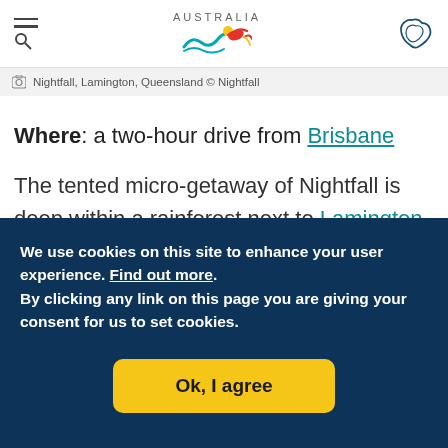Tourism Australia website header with menu/search icon, Australia logo, and map icon
📷 Nightfall, Lamington, Queensland © Nightfall
Where: a two-hour drive from Brisbane
The tented micro-getaway of Nightfall is deep within a rainforest next to Lamington National Park. This
We use cookies on this site to enhance your user experience. Find out more. By clicking any link on this page you are giving your consent for us to set cookies.
Ok, I agree